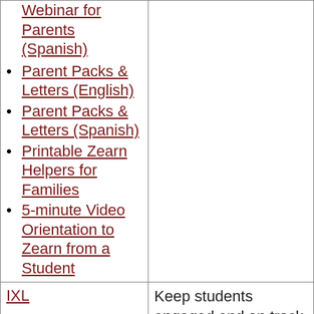Webinar for Parents (Spanish)
Parent Packs & Letters (English)
Parent Packs & Letters (Spanish)
Printable Zearn Helpers for Families
5-minute Video Orientation to Zearn from a Student
| IXL | Keep students engaged and on track over the break with |